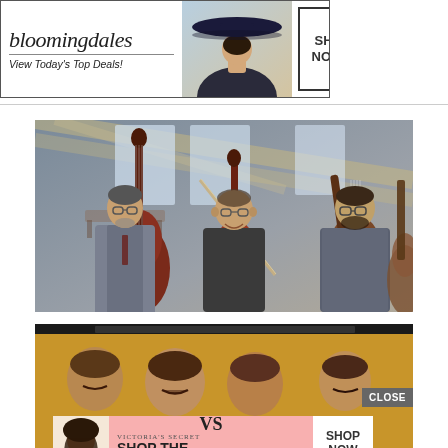[Figure (photo): Bloomingdale's banner advertisement with logo, woman in large hat, and SHOP NOW button]
[Figure (photo): Three male musicians posing indoors: left holds a double bass, center holds a cello with bow, right holds a mandolin. Indoor venue with large windows in background.]
[Figure (photo): Bottom overlay showing a dark-top golden-background image of a band/group of men with mustaches, with a CLOSE button and a Victoria's Secret 'SHOP THE COLLECTION / SHOP NOW' advertisement overlay featuring a woman with curly hair.]